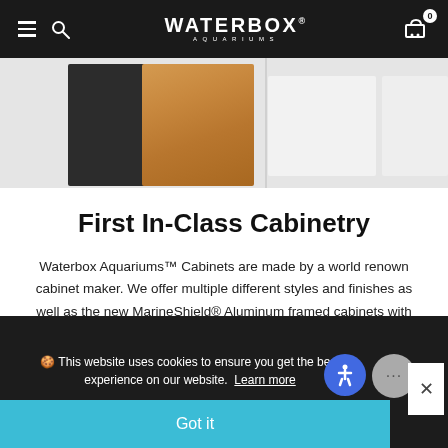WATERBOX AQUARIUMS
[Figure (photo): Product image strip showing three cabinet color/finish options: dark charcoal, natural wood grain, and white/light grey cabinets against a light background.]
First In-Class Cabinetry
Waterbox Aquariums™ Cabinets are made by a world renown cabinet maker. We offer multiple different styles and finishes as well as the new MarineShield® Aluminum framed cabinets with composite paneling.
🍪 This website uses cookies to ensure you get the best experience on our website. Learn more
Got it